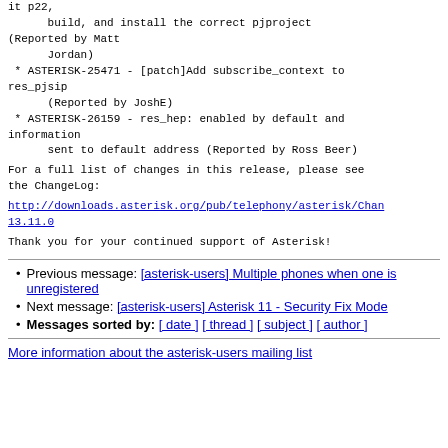it p22,
      build, and install the correct pjproject (Reported by Matt
      Jordan)
 * ASTERISK-25471 - [patch]Add subscribe_context to res_pjsip
      (Reported by JoshE)
 * ASTERISK-26159 - res_hep: enabled by default and information
      sent to default address (Reported by Ross Beer)
For a full list of changes in this release, please see the ChangeLog:
http://downloads.asterisk.org/pub/telephony/asterisk/ChangeLog-13.11.0
Thank you for your continued support of Asterisk!
Previous message: [asterisk-users] Multiple phones when one is unregistered
Next message: [asterisk-users] Asterisk 11 - Security Fix Mode
Messages sorted by: [ date ] [ thread ] [ subject ] [ author ]
More information about the asterisk-users mailing list